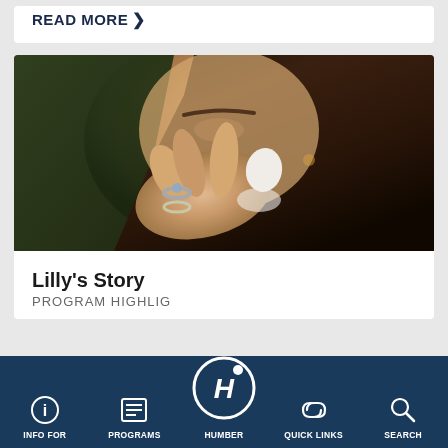READ MORE >
[Figure (photo): Close-up photo of a woman laughing with her hand near her face, wearing multiple rings]
Lilly's Story
PROGRAM HIGHLIGHTS
INFO FOR | PROGRAMS | HUMBER | QUICK LINKS | SEARCH